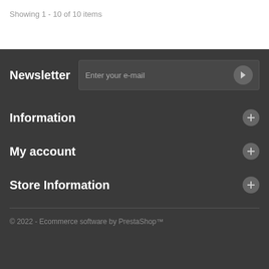Showing 1 - 10 of 10 items
Newsletter
Enter your e-mail
Information
My account
Store Information
© 2022 - Ecommerce software by PrestaShop™